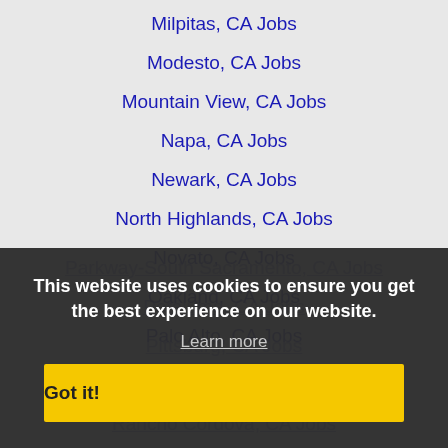Milpitas, CA Jobs
Modesto, CA Jobs
Mountain View, CA Jobs
Napa, CA Jobs
Newark, CA Jobs
North Highlands, CA Jobs
Novato, CA Jobs
Oakland, CA Jobs
Palo Alto, CA Jobs
Parkway-South Sacramento, CA Jobs
Petaluma, CA Jobs
Pittsburg, CA Jobs
Pleasanton, CA Jobs
Rancho Cordova, CA Jobs
Redwood City, CA Jobs
Richmond, CA Jobs
Rocklin, CA Jobs
Rohnert Park, CA Jobs
This website uses cookies to ensure you get the best experience on our website.
Learn more
Got it!